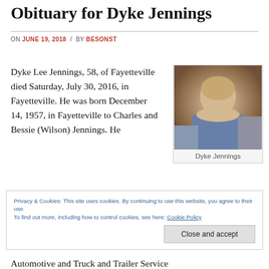Obituary for Dyke Jennings
ON JUNE 19, 2018 / BY BESONST
Dyke Lee Jennings, 58, of Fayetteville died Saturday, July 30, 2016, in Fayetteville. He was born December 14, 1957, in Fayetteville to Charles and Bessie (Wilson) Jennings. He
[Figure (photo): Portrait photo of Dyke Jennings, a middle-aged man with light hair wearing a plaid shirt]
Dyke Jennings
Privacy & Cookies: This site uses cookies. By continuing to use this website, you agree to their use.
To find out more, including how to control cookies, see here: Cookie Policy
Close and accept
Automotive and Truck and Trailer Service